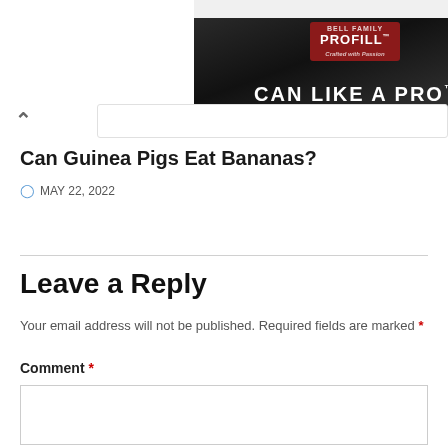[Figure (screenshot): Advertisement banner for PROFILL 'CAN LIKE A PRO' product showing metallic cans background]
Can Guinea Pigs Eat Bananas?
MAY 22, 2022
Leave a Reply
Your email address will not be published. Required fields are marked *
Comment *